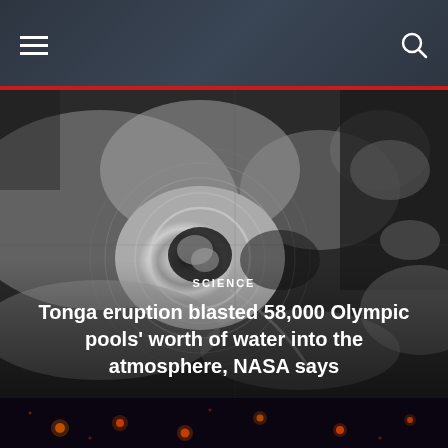Navigation bar with hamburger menu and search icon
[Figure (photo): Satellite image of the Tonga volcanic eruption showing a large circular cloud formation with rippling shock waves over the ocean, in black and white]
SCIENCE
Tonga eruption blasted 58,000 Olympic pools' worth of water into the atmosphere, NASA says
[Figure (photo): Dark space or night sky photo with orange-red glowing points of light]